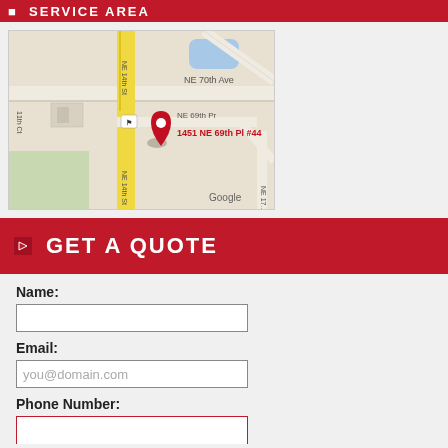SERVICE AREA
[Figure (map): Google Maps view showing location pin at 1451 NE 69th Pl #44, with streets NE 14th St, NE 70th Ave, NE 69th Pr visible]
GET A QUOTE
Name:
Email:
Phone Number: